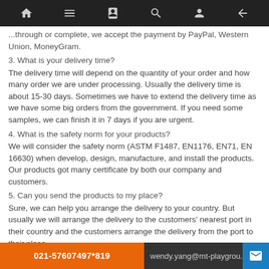Navigation bar with home, menu, contacts, search, profile, and back icons
...through or complete, we accept the payment by PayPal, Western Union, MoneyGram.
3. What is your delivery time?
The delivery time will depend on the quantity of your order and how many order we are under processing. Usually the delivery time is about 15-30 days. Sometimes we have to extend the delivery time as we have some big orders from the government. If you need some samples, we can finish it in 7 days if you are urgent.
4. What is the safety norm for your products?
We will consider the safety norm (ASTM F1487, EN1176, EN71, EN 16630) when develop, design, manufacture, and install the products. Our products got many certificate by both our company and customers.
5. Can you send the products to my place?
Sure, we can help you arrange the delivery to your country. But usually we will arrange the delivery to the customers' nearest port in their country and the customers arrange the delivery from the port to their place.
6. Can I install the products myself?
Yes. We will provide you the detailed installation instruction. All of our customers can put up the playground themselves with the help from us.
021-57607497*819 | wendy.yang@mt-playground...